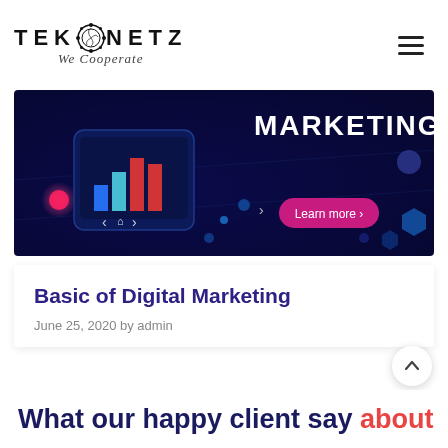TEKONETZ – We Cooperate
[Figure (photo): Dark blue digital marketing banner with glowing neon graphics, charts, a 'Learn more' pill button, and the word MARKETING in large text]
Basic of Digital Marketing
June 25, 2020 by admin
What our happy client say about